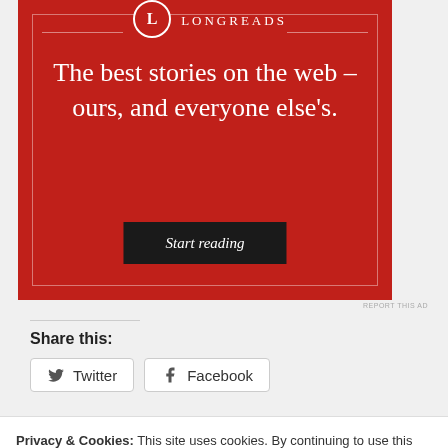[Figure (illustration): Longreads advertisement banner with red background. Shows logo with 'L' in circle, brand name LONGREADS, tagline 'The best stories on the web – ours, and everyone else's.' and a black 'Start reading' button.]
REPORT THIS AD
Share this:
Twitter
Facebook
Privacy & Cookies: This site uses cookies. By continuing to use this website, you agree to their use.
To find out more, including how to control cookies, see here: Cookie Policy
Close and accept